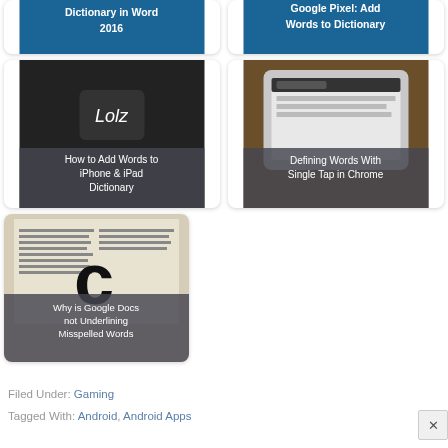[Figure (screenshot): Card: 'Dictionary in Word 2016' with blue background, text overlay]
[Figure (screenshot): Card: 'Google Pixel: Add Words to Dictionary' with blue background, text overlay]
[Figure (screenshot): Card: 'How to Add Words to iPhone & iPad Dictionary' with dark keyboard background]
[Figure (screenshot): Card: 'Defining Words With Single Tap in Chrome' with tablet photo background]
[Figure (photo): Card: 'Why is Google Docs not Underlining Misspelled Words' with open dictionary book photo]
Filed Under: Gaming
Tagged With: Android, Android Apps